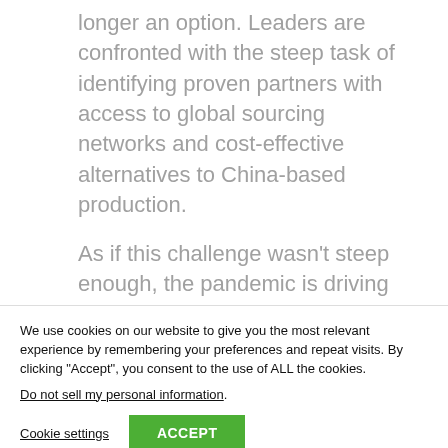longer an option. Leaders are confronted with the steep task of identifying proven partners with access to global sourcing networks and cost-effective alternatives to China-based production.
As if this challenge wasn't steep enough, the pandemic is driving another trend that can pose an even greater risk for medtech companies.
We use cookies on our website to give you the most relevant experience by remembering your preferences and repeat visits. By clicking "Accept", you consent to the use of ALL the cookies.
Do not sell my personal information.
Cookie settings
ACCEPT